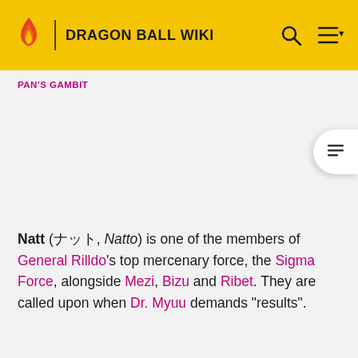DRAGON BALL WIKI
PAN'S GAMBIT
Natt (ナット, Natto) is one of the members of General Rilldo's top mercenary force, the Sigma Force, alongside Mezi, Bizu and Ribet. They are called upon when Dr. Myuu demands "results".
[Figure (photo): Gray placeholder image area at bottom of page]